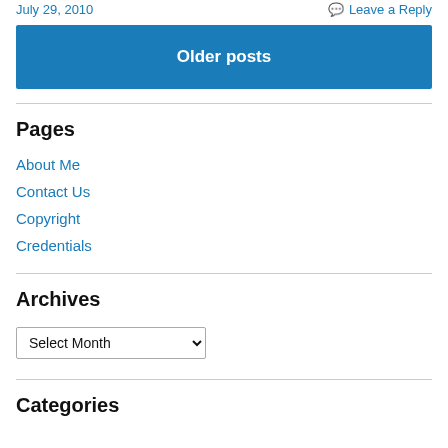July 29, 2010    Leave a Reply
Older posts
Pages
About Me
Contact Us
Copyright
Credentials
Archives
Select Month
Categories